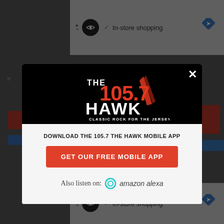[Figure (screenshot): Mobile app download modal popup for 105.7 The Hawk radio station. The modal has a black header with the station logo (105.7 The Hawk - Classic Rock For The Jersey Shore), a close X button, and a white body section with text 'DOWNLOAD THE 105.7 THE HAWK MOBILE APP', a red button 'GET OUR FREE MOBILE APP', and 'Also listen on: [Amazon Alexa icon] amazon alexa'. Behind the modal is a blurred webpage with two advertisement banners (top and bottom) showing 'In-store shopping' with icons.]